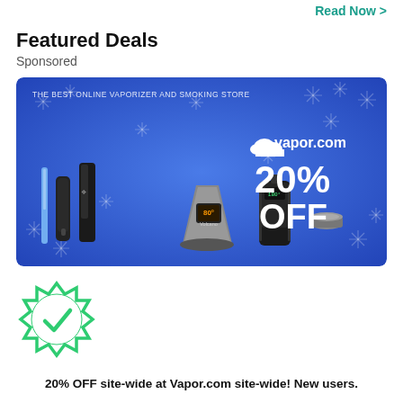Read Now >
Featured Deals
Sponsored
[Figure (photo): Advertisement banner for vapor.com showing vaporizer products on a blue winter/snowflake background with text: THE BEST ONLINE VAPORIZER AND SMOKING STORE, vapor.com logo with cloud icon, 20% OFF]
[Figure (illustration): Green badge/seal with a white checkmark inside, indicating verified or approved deal]
20% OFF site-wide at Vapor.com site-wide! New users.